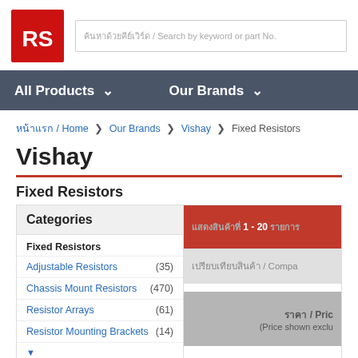[Figure (logo): RS Components red square logo with white RS letters]
ค้นหาด้วยคีย์เวิร์ด / Search by keyword or part No.
All Products  ∨      Our Brands  ∨
หน้าแรก / Home > Our Brands > Vishay > Fixed Resistors
Vishay
Fixed Resistors
| Categories |  |
| --- | --- |
| Fixed Resistors |  |
| Adjustable Resistors | (35) |
| Chassis Mount Resistors | (470) |
| Resistor Arrays | (61) |
| Resistor Mounting Brackets | (14) |
แสดงสินค้าที่ 1 - 20 รายการ
เปรียบเทียบสินค้า / Compare
ราคา / Price (Price shown excl.